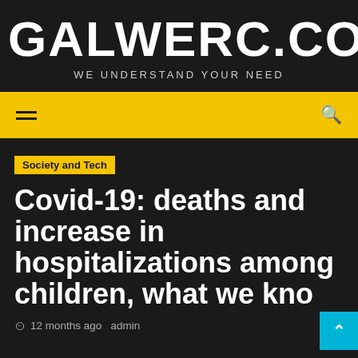GALWERC.COM
WE UNDERSTAND YOUR NEED
[Figure (screenshot): Navigation bar with hamburger menu icon on the left and search icon on the right, yellow background]
Society and Tech
Covid-19: deaths and increase in hospitalizations among children, what we kno
12 months ago  admin